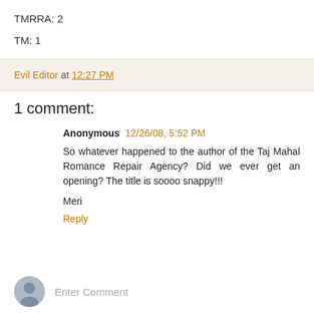TMRRA: 2
TM: 1
Evil Editor at 12:27 PM
1 comment:
Anonymous 12/26/08, 5:52 PM
So whatever happened to the author of the Taj Mahal Romance Repair Agency? Did we ever get an opening? The title is soooo snappy!!!

Meri
Reply
Enter Comment